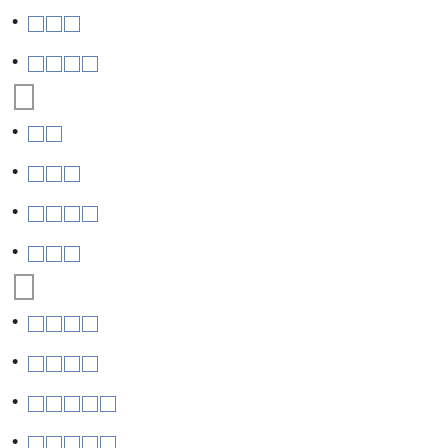□□□
□□□□
□
□□
□□□
□□□□
□□□
□
□□□□
□□□□
□□□□□
□□□□□
□□□